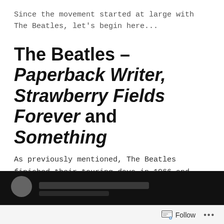Since the movement started at large with The Beatles, let's begin here...
The Beatles – Paperback Writer, Strawberry Fields Forever and Something
As previously mentioned, The Beatles finished their touring days in 1966 and chose to instead focus on recording complex albums. So to help promote these records, they filmed promotional videos that could make an appearance in the place of the band on national TV.
[Figure (screenshot): Bottom portion of a video player shown as a dark/black bar, partially visible at the bottom of the page. Below it is a follow bar with a Follow button and ellipsis menu.]